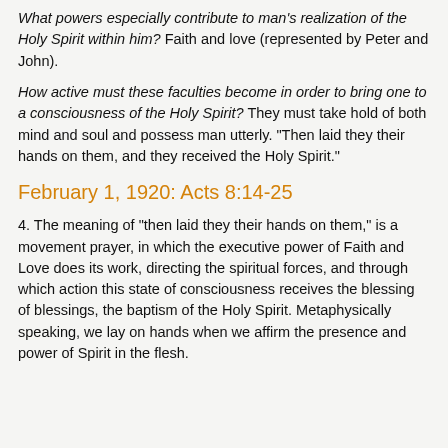What powers especially contribute to man's realization of the Holy Spirit within him? Faith and love (represented by Peter and John).
How active must these faculties become in order to bring one to a consciousness of the Holy Spirit? They must take hold of both mind and soul and possess man utterly. "Then laid they their hands on them, and they received the Holy Spirit."
February 1, 1920: Acts 8:14-25
4. The meaning of "then laid they their hands on them," is a movement prayer, in which the executive power of Faith and Love does its work, directing the spiritual forces, and through which action this state of consciousness receives the blessing of blessings, the baptism of the Holy Spirit. Metaphysically speaking, we lay on hands when we affirm the presence and power of Spirit in the flesh.